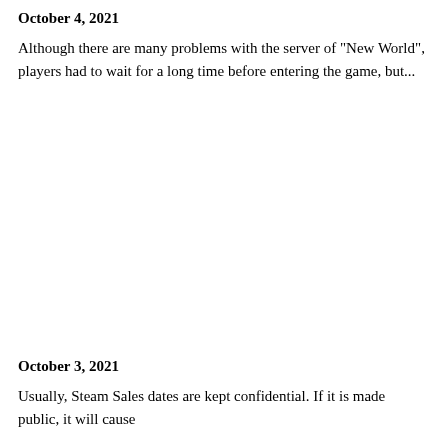October 4, 2021
Although there are many problems with the server of "New World", players had to wait for a long time before entering the game, but...
October 3, 2021
Usually, Steam Sales dates are kept confidential. If it is made public, it will cause